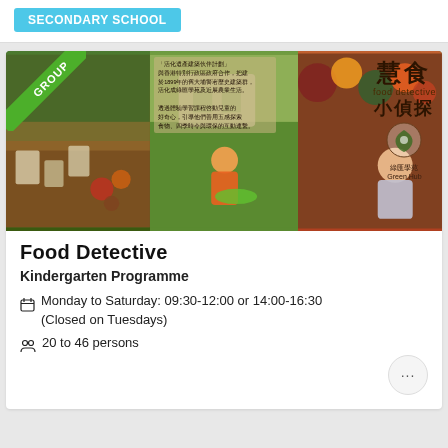SECONDARY SCHOOL
[Figure (photo): Food Detective programme promotional banner with children learning about food and vegetables at Green Hub, with Chinese text overlay and branding '慧食 food detective 小偵探']
Food Detective
Kindergarten Programme
Monday to Saturday: 09:30-12:00 or 14:00-16:30 (Closed on Tuesdays)
20 to 46 persons